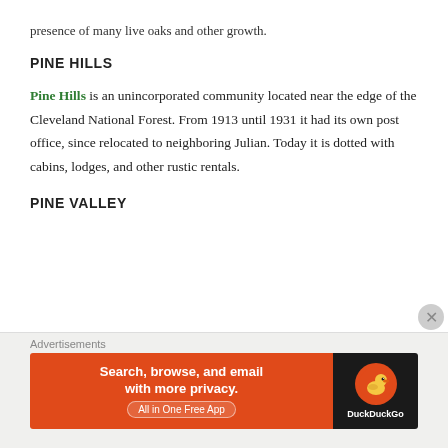presence of many live oaks and other growth.
PINE HILLS
Pine Hills is an unincorporated community located near the edge of the Cleveland National Forest. From 1913 until 1931 it had its own post office, since relocated to neighboring Julian. Today it is dotted with cabins, lodges, and other rustic rentals.
PINE VALLEY
[Figure (photo): Photo of pine trees against a blue-grey sky, shot from below looking upward.]
Advertisements
[Figure (other): DuckDuckGo advertisement banner: 'Search, browse, and email with more privacy. All in One Free App']